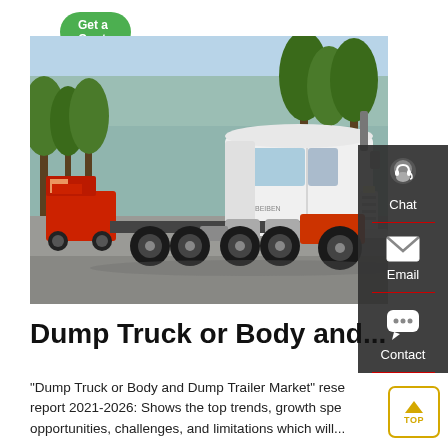[Figure (other): Green 'Get a Quote' button at top left]
[Figure (photo): A white heavy-duty truck (tractor unit) parked in a lot with trees in the background. A red truck is partially visible on the left side.]
[Figure (other): Sidebar panel with Chat (headset icon), Email (envelope icon), and Contact (chat bubble icon) buttons on dark grey background]
Dump Truck or Body and...
"Dump Truck or Body and Dump Trailer Market" research report 2021-2026: Shows the top trends, growth speed, opportunities, challenges, and limitations which will...